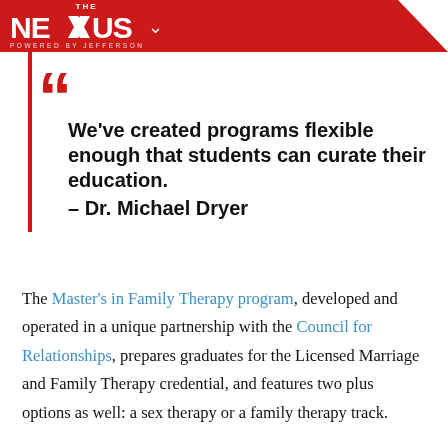THE NEXUS — POWERED BY JEFFERSON
We've created programs flexible enough that students can curate their education. – Dr. Michael Dryer
The Master's in Family Therapy program, developed and operated in a unique partnership with the Council for Relationships, prepares graduates for the Licensed Marriage and Family Therapy credential, and features two plus options as well: a sex therapy or a family therapy track.